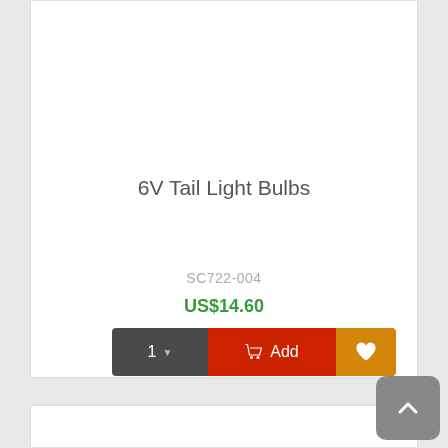6V Tail Light Bulbs
SC722-004
US$14.60
[Figure (screenshot): Product card with quantity selector (1 with dropdown arrow), red Add to Cart button with cart icon, and orange/amber wishlist heart button]
[Figure (screenshot): Scroll-to-top button (dark gray, rounded, white chevron up arrow) in bottom right corner]
[Figure (other): Partial bottom product card visible at the bottom of the page]